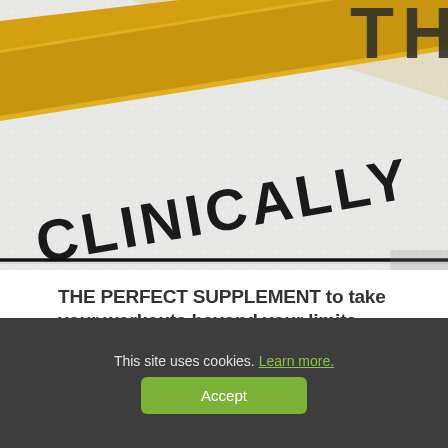[Figure (photo): Close-up photo of a supplement product label with gold diagonal stripe and the word 'CLINICALLY' visible in bold black text on a white/grey textured background. Letters 'T H' visible in top right corner.]
THE PERFECT SUPPLEMENT to take your workouts beyond your limits
[Figure (photo): Photo of red watermelon pieces with water splash against white background, partially visible at bottom of page.]
This site uses cookies. Learn more.
Accept